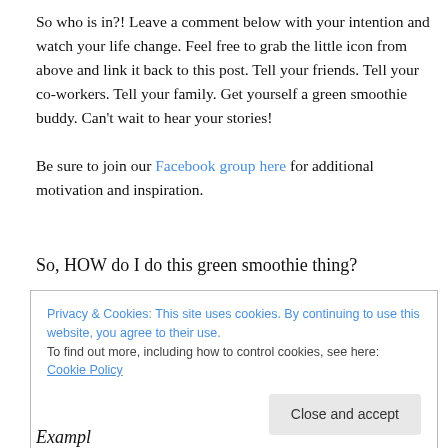So who is in?! Leave a comment below with your intention and watch your life change. Feel free to grab the little icon from above and link it back to this post. Tell your friends. Tell your co-workers. Tell your family. Get yourself a green smoothie buddy. Can't wait to hear your stories!

Be sure to join our Facebook group here for additional motivation and inspiration.
So, HOW do I do this green smoothie thing?
Privacy & Cookies: This site uses cookies. By continuing to use this website, you agree to their use.
To find out more, including how to control cookies, see here: Cookie Policy
Close and accept
Example